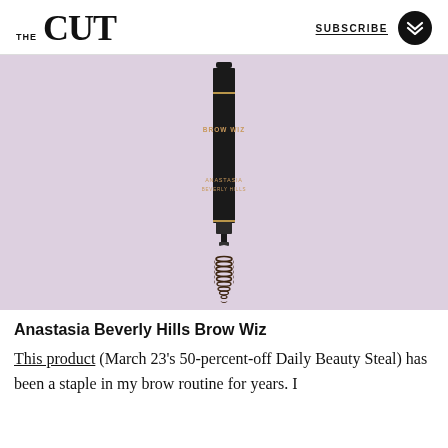THE CUT | SUBSCRIBE
[Figure (photo): Anastasia Beverly Hills Brow Wiz pencil product photo on lavender/lilac background. A long thin dark brown/black brow pencil with 'BROW WIZ' text and 'ANASTASIA BEVERLY HILLS' branding, with a spoolie brush at the bottom end.]
Anastasia Beverly Hills Brow Wiz
This product (March 23's 50-percent-off Daily Beauty Steal) has been a staple in my brow routine for years. I